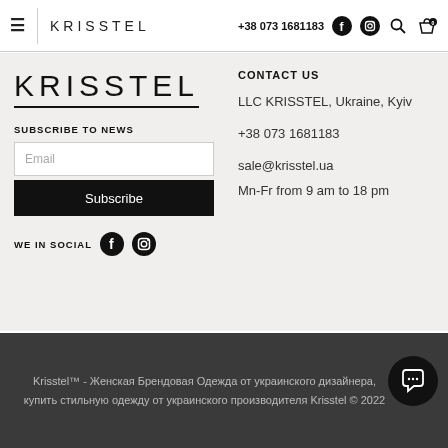≡ KRISSTEL +38 073 1681183 [Facebook] [Instagram] [Search] [Bag 0]
[Figure (logo): KRISSTEL brand logo large text]
SUBSCRIBE TO NEWS
Email
Subscribe
WE IN SOCIAL [Facebook icon] [Instagram icon]
CONTACT US
LLC KRISSTEL, Ukraine, Kyiv
+38 073 1681183
sale@krisstel.ua
Mn-Fr from 9 am to 18 pm
Krisstel™ - Женская Брендовая Одежда от украинского дизайнера, купить стильную одежду от украинского производителя Krisstel © 2022